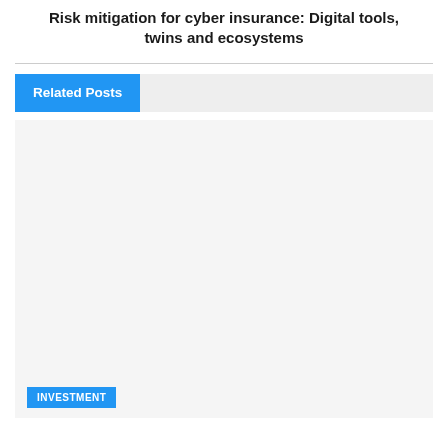Risk mitigation for cyber insurance: Digital tools, twins and ecosystems
Related Posts
[Figure (other): Light gray placeholder card area for a related post thumbnail, with a blue 'INVESTMENT' category badge in the lower-left corner.]